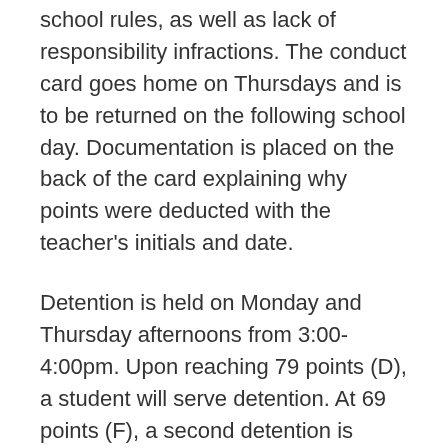school rules, as well as lack of responsibility infractions. The conduct card goes home on Thursdays and is to be returned on the following school day. Documentation is placed on the back of the card explaining why points were deducted with the teacher's initials and date.
Detention is held on Monday and Thursday afternoons from 3:00-4:00pm. Upon reaching 79 points (D), a student will serve detention. At 69 points (F), a second detention is scheduled; at 59 points, a third detention is scheduled. Upon reaching below 59 points, the student may be suspended. When a student does not show up for detention